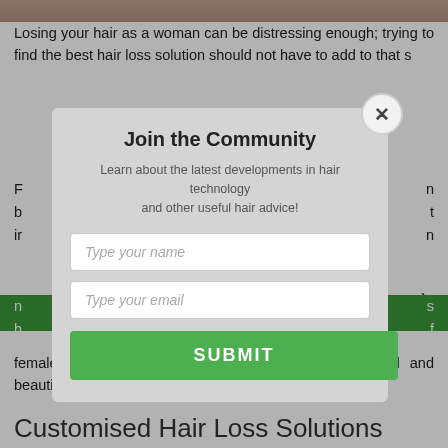[Figure (photo): Partial photo strip at top of page showing a person's hair/head]
Losing your hair as a woman can be distressing enough; trying to find the best hair loss solution should not have to add to that s
female hair loss, and look and feel absolutely natural and beautiful.
Customised Hair Loss Solutions
[Figure (screenshot): Modal popup dialog - Join the Community. Contains title 'Join the Community', description 'Learn about the latest developments in hair technology and other useful hair advice!', name input field, email input field, and SUBMIT button. Has a close (X) button in top right corner.]